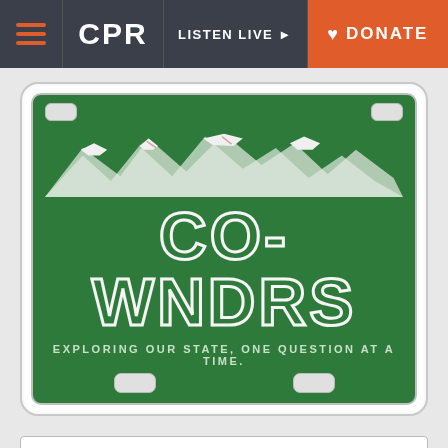CPR — LISTEN LIVE — DONATE
[Figure (illustration): Colorado license plate illustration with text CO-WNDRS and tagline 'EXPLORING OUR STATE, ONE QUESTION AT A TIME.' on a green background with mountain silhouette]
What do you wonder about Colo
Your contact info
A reporter will contact you if we look into your question.